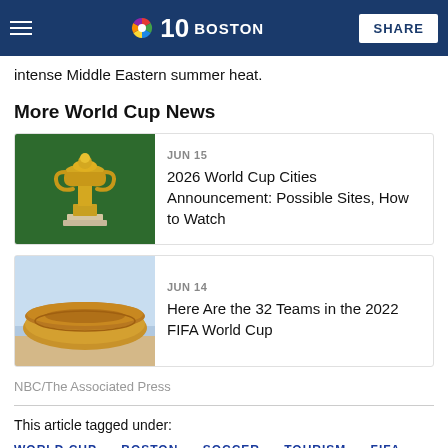NBC 10 Boston — SHARE
intense Middle Eastern summer heat.
More World Cup News
[Figure (photo): Gold FIFA World Cup trophy on a white pedestal against a green background]
JUN 15
2026 World Cup Cities Announcement: Possible Sites, How to Watch
[Figure (photo): Lusail Stadium in Qatar, a large oval-shaped golden building against a clear sky]
JUN 14
Here Are the 32 Teams in the 2022 FIFA World Cup
NBC/The Associated Press
This article tagged under:
WORLD CUP · BOSTON · SOCCER · TOURISM · FIFA